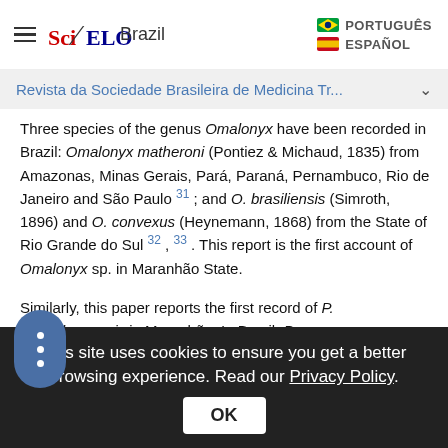SciELO Brazil | PORTUGUÊS | ESPAÑOL
Revista da Sociedade Brasileira de Medicina Tr...
Three species of the genus Omalonyx have been recorded in Brazil: Omalonyx matheroni (Pontiez & Michaud, 1835) from Amazonas, Minas Gerais, Pará, Paraná, Pernambuco, Rio de Janeiro and São Paulo 31 ; and O. brasiliensis (Simroth, 1896) and O. convexus (Heynemann, 1868) from the State of Rio Grande do Sul 32 , 33 . This report is the first account of Omalonyx sp. in Maranhão State.

Similarly, this paper reports the first record of P. guadeloupensis in Maranhão. In Brazil, P.
This site uses cookies to ensure you get a better browsing experience. Read our Privacy Policy. OK